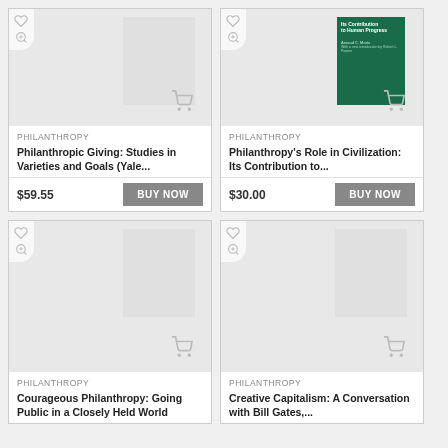[Figure (illustration): Book product card: Philanthropic Giving with placeholder book cover image, wishlist and zoom icons, shopping cart icon]
PHILANTHROPY
Philanthropic Giving: Studies in Varieties and Goals (Yale...
$59.55
BUY NOW
[Figure (illustration): Book product card: Philanthropy's Role in Civilization with green book cover, wishlist and zoom icons, shopping cart icon]
PHILANTHROPY
Philanthropy's Role in Civilization: Its Contribution to...
$30.00
BUY NOW
[Figure (illustration): Book product card: Courageous Philanthropy with placeholder cover, wishlist and zoom icons, shopping cart icon]
PHILANTHROPY
Courageous Philanthropy: Going Public in a Closely Held World
[Figure (illustration): Book product card: Creative Capitalism with placeholder cover, wishlist and zoom icons, shopping cart icon]
PHILANTHROPY
Creative Capitalism: A Conversation with Bill Gates,...